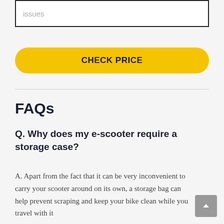issues
CHECK PRICE
FAQs
Q. Why does my e-scooter require a storage case?
A. Apart from the fact that it can be very inconvenient to carry your scooter around on its own, a storage bag can help prevent scraping and keep your bike clean while you travel with it